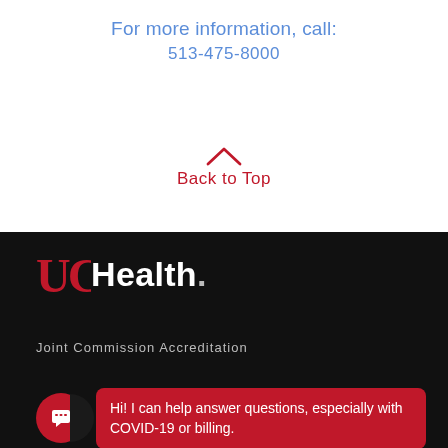For more information, call:
513-475-8000
Back to Top
[Figure (logo): UC Health logo with red UC mark and white Health text on black background]
Joint Commission Accreditation
Hi! I can help answer questions, especially with COVID-19 or billing.